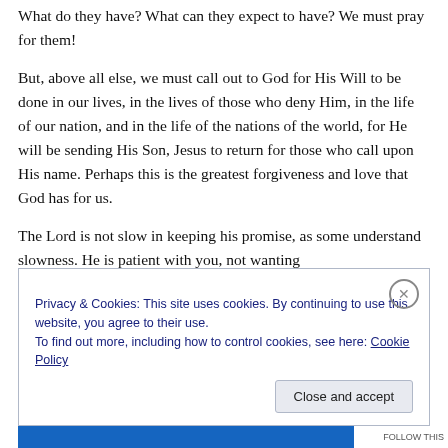What do they have? What can they expect to have? We must pray for them!
But, above all else, we must call out to God for His Will to be done in our lives, in the lives of those who deny Him, in the life of our nation, and in the life of the nations of the world, for He will be sending His Son, Jesus to return for those who call upon His name. Perhaps this is the greatest forgiveness and love that God has for us.
The Lord is not slow in keeping his promise, as some understand slowness. He is patient with you, not wanting
Privacy & Cookies: This site uses cookies. By continuing to use this website, you agree to their use.
To find out more, including how to control cookies, see here: Cookie Policy